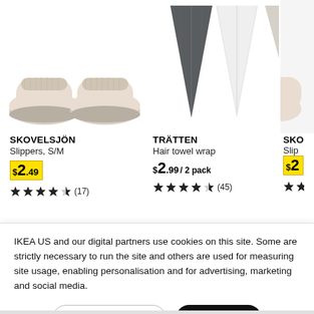[Figure (photo): IKEA SKOVELSJON slippers, beige/cream colored, S/M size, top-down view of two slippers]
[Figure (photo): IKEA TRATTEN hair towel wrap, shown in dark grey and white/light, folded triangular shapes]
[Figure (photo): Partial third product image cut off at right edge]
SKOVELSJON
Slippers, S/M
$2.49
4.5 stars (17)
TRATTEN
Hair towel wrap
$2.99/ 2 pack
4.5 stars (45)
SKO
Slip
$2
IKEA US and our digital partners use cookies on this site. Some are strictly necessary to run the site and others are used for measuring site usage, enabling personalisation and for advertising, marketing and social media.
Cookie settings
Ok